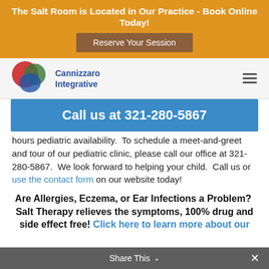The Salt Room is Located in Our Practice - Book Online Today!
Reserve Your Session
[Figure (logo): Cannizzaro Integrative logo with overlapping red, green, and blue circles]
Call us at 321-280-5867
hours pediatric availability.  To schedule a meet-and-greet and tour of our pediatric clinic, please call our office at 321-280-5867.  We look forward to helping your child.  Call us or use the contact form on our website today!
Are Allergies, Eczema, or Ear Infections a Problem?  Salt Therapy relieves the symptoms, 100% drug and side effect free!  Click here to learn more about our
Share This